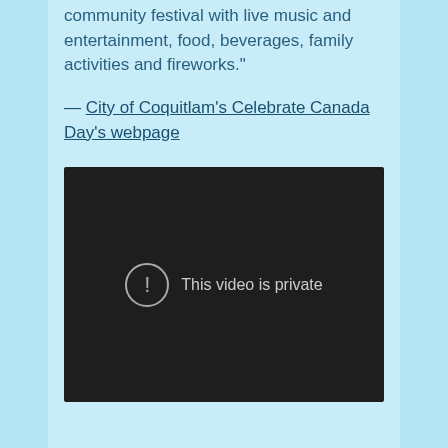community festival with live music and entertainment, food, beverages, family activities and fireworks."
— City of Coquitlam's Celebrate Canada Day's webpage
[Figure (screenshot): Embedded video player showing 'This video is private' error message on a dark background]